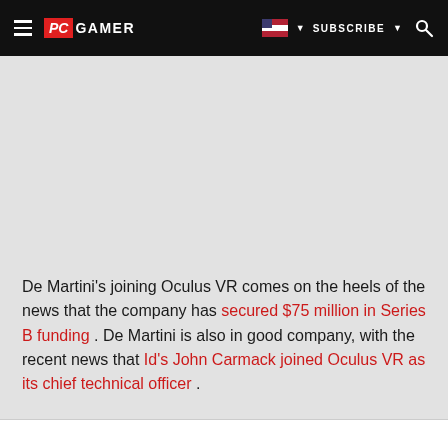PC GAMER | SUBSCRIBE
[Figure (other): Gray advertisement/placeholder area]
De Martini's joining Oculus VR comes on the heels of the news that the company has secured $75 million in Series B funding . De Martini is also in good company, with the recent news that Id's John Carmack joined Oculus VR as its chief technical officer .